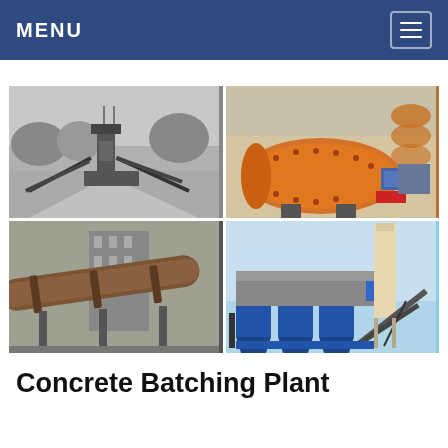MENU
[Figure (photo): Four-panel grid of industrial/mining equipment photos: top-left shows a black-and-white image of a crushing plant with conveyor belts; top-right shows an orange ball mill and spiral classifier in a mineral processing facility; bottom-left shows a large rotary kiln pipe in an industrial plant; bottom-right shows a blue concrete batching plant with a tall silo and conveyor.]
Concrete Batching Plant